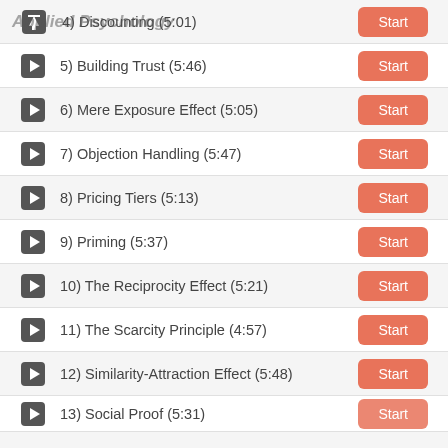4) Discounting (5:01)
5) Building Trust (5:46)
6) Mere Exposure Effect (5:05)
7) Objection Handling (5:47)
8) Pricing Tiers (5:13)
9) Priming (5:37)
10) The Reciprocity Effect (5:21)
11) The Scarcity Principle (4:57)
12) Similarity-Attraction Effect (5:48)
13) Social Proof (5:31)